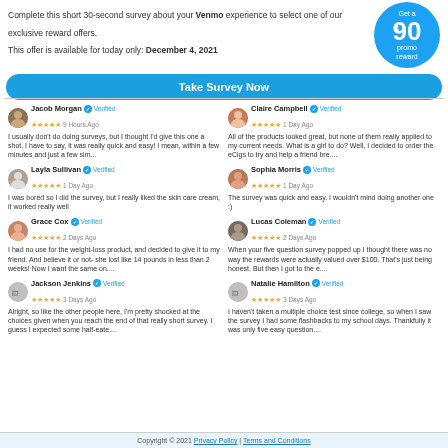Complete this short 30-second survey about your Venmo experience to select one of our exclusive reward offers.
This offer is available for today only: December 4, 2021
[Figure (infographic): Blue circle with 'Get a $90 promo reward' text]
Take Survey Now
Jacob Morgan Verified 9 Hours Ago - I usually don't do doing surveys, but I thought I'd give this one a shot. I have to say, it was really quick and easy! I mean, within a few minutes and just a few sim...
Claire Campbell Verified 1 Day Ago - All of the products looked great, but none of them really applied to my current needs. What is a girl to do? Well, I decided to order the eCigs to try and help a friend bre....
Layla Sullivan Verified 1 Day Ago - I was bored so I did the survey, but I really liked the skin care cream, it worked really well
Sophia Morris Verified 1 Day Ago - The survey was quick and easy. I wouldn't mind doing another one :)
Grace Cox Verified 2 Days Ago - I had no use for the weight-loss product, and decided to give it to my friend. And believe it or not- she lost like 14 pounds in less than 2 weeks! Now I want the same on....
Lucas Coleman Verified 2 Days Ago - When your five question survey popped up I thought there was no way the rewards were actually valued over $100. That's just being honest. But then I got to the e....
Jackson Jenkins Verified 3 Days Ago - Alright, so like the other people here, I'm pretty shocked at the choices given when you reach the end of that really short survey. I guess I expected some half-eate....
Natalie Hamilton Verified 3 Days Ago - I haven't taken a multiple choice test since college, so when I saw the survey I had some flashbacks to my school days. Thankfully it was only five easy question....
Copyright © 2021 Privacy Policy | Terms and Conditions